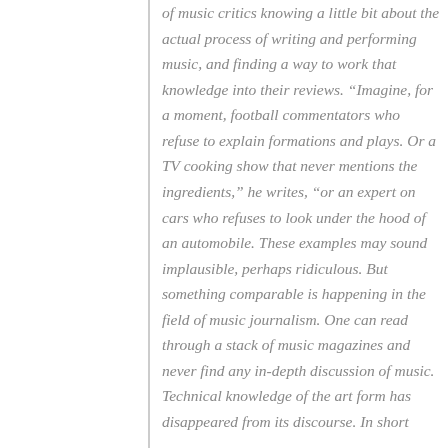of music critics knowing a little bit about the actual process of writing and performing music, and finding a way to work that knowledge into their reviews. “Imagine, for a moment, football commentators who refuse to explain formations and plays. Or a TV cooking show that never mentions the ingredients,” he writes, “or an expert on cars who refuses to look under the hood of an automobile. These examples may sound implausible, perhaps ridiculous. But something comparable is happening in the field of music journalism. One can read through a stack of music magazines and never find any in-depth discussion of music. Technical knowledge of the art form has disappeared from its discourse. In short